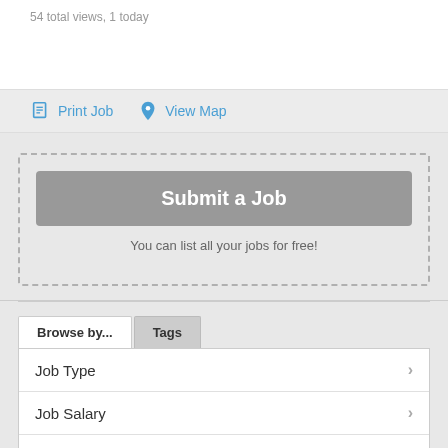54 total views, 1 today
Print Job
View Map
Submit a Job
You can list all your jobs for free!
Browse by...
Tags
Job Type
Job Salary
Job Category
Date posted